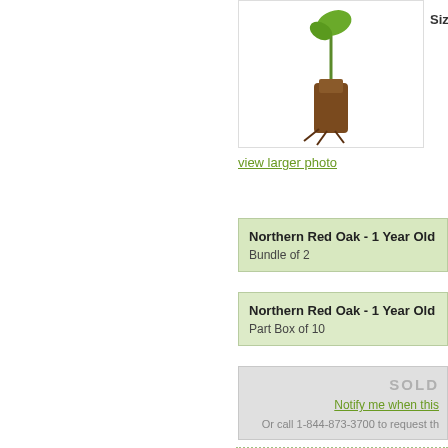[Figure (photo): Northern Red Oak 1-year-old seedling with small green leaf on brown root plug, white background]
Size: 40-86cm
view larger photo
Northern Red Oak - 1 Year Old
Bundle of 2
Northern Red Oak - 1 Year Old
Part Box of 10
SOLD
Notify me when this
Or call 1-844-873-3700 to request th
[Figure (photo): Close-up of Northern Red Oak leaf with pointed lobes, green with dark background]
Northern
(Shorter)
Greenhouse-g
Staff favourite.